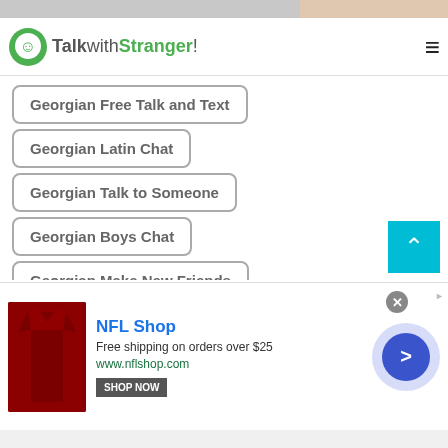[Figure (screenshot): Top banner strip with partial image]
TalkwithStranger!
Georgian Free Talk and Text
Georgian Latin Chat
Georgian Talk to Someone
Georgian Boys Chat
Georgian Make New Friends
Georgian Talk to Girls
Georgian Free Online Chat
Georgian Meet New Friends
[Figure (infographic): NFL Shop advertisement: shirt image, 'NFL Shop', 'Free shipping on orders over $25', 'www.nflshop.com', SHOP NOW button, close button, arrow circle]